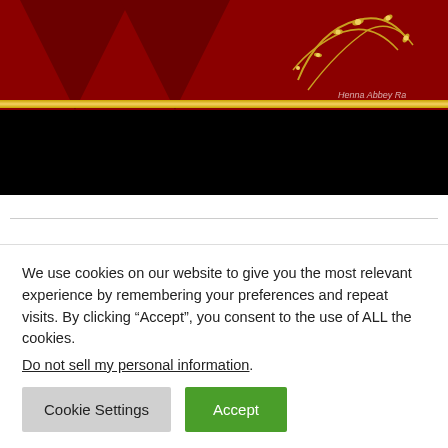[Figure (illustration): Website banner with dark red background, triangular geometric shapes, gold horizontal bar, gold floral ornament on the right, and faint watermark text 'Henna Abbey Ra' in white italic]
We all know that anniversary is very special day for a newly married couple and we can do anything to make this day very memorable and amazing. so here we have
We use cookies on our website to give you the most relevant experience by remembering your preferences and repeat visits. By clicking “Accept”, you consent to the use of ALL the cookies.
Do not sell my personal information.
Cookie Settings
Accept